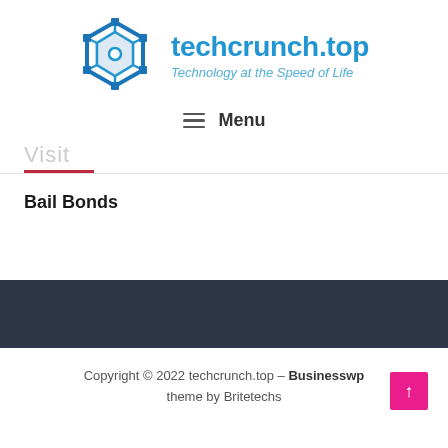techcrunch.top – Technology at the Speed of Life
≡ Menu
Visit
Bail Bonds
Copyright © 2022 techcrunch.top – Businesswp theme by Britetechs